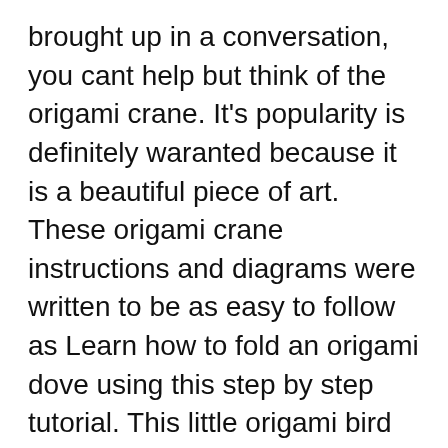brought up in a conversation, you cant help but think of the origami crane. It's popularity is definitely waranted because it is a beautiful piece of art. These origami crane instructions and diagrams were written to be as easy to follow as Learn how to fold an origami dove using this step by step tutorial. This little origami bird looks like a dove in flight, it can also be considered a parrot, pigeon, parakeet or other bird. Older kids will really enjoy making this origami dove bird, some will need a bit of help to finish some of the steps.
Origami Bird Instructions This beautiful traditional origami bird is actually quite easy to make, and if you fold the feet at